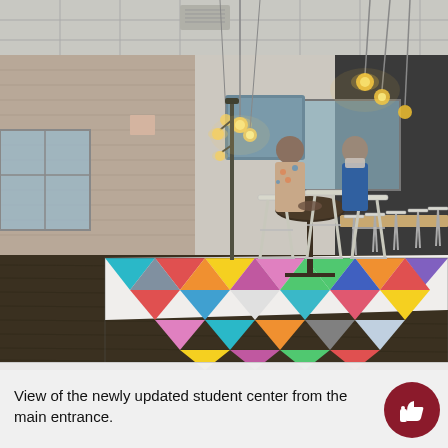[Figure (photo): Interior photo of a newly updated student center viewed from the main entrance. The room has exposed brick walls, dark hardwood flooring, pendant Edison bulb lighting. Two people stand at a tall bistro table. In the center is a colorful geometric patterned rug with triangles in teal, pink, orange, yellow, gray, and white. To the right is a long counter/bar with white metal bar stools. Windows let in natural light.]
View of the newly updated student center from the main entrance.